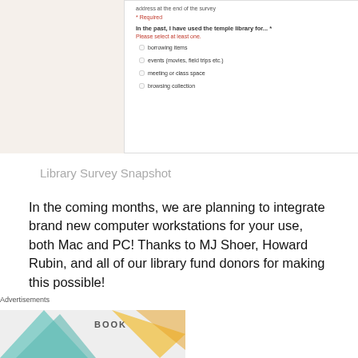[Figure (screenshot): A screenshot of a library survey form showing checkboxes for borrowing items, events (movies, field trips etc.), meeting or class space, browsing collection]
Library Survey Snapshot
In the coming months, we are planning to integrate brand new computer workstations for your use, both Mac and PC! Thanks to MJ Shoer, Howard Rubin, and all of our library fund donors for making this possible!
Sara has been revamping the teen area, planning additions to the collection and recataloging fiction for easy browsing. We now have a teen graphic novel section- come check it out!
Advertisements